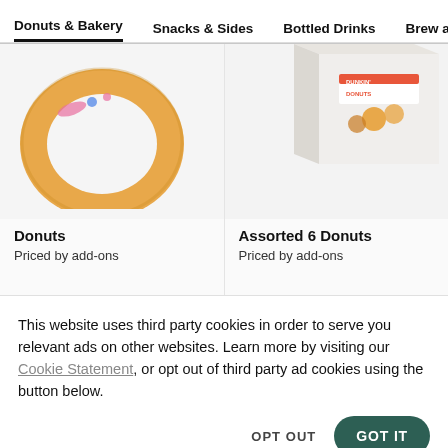Donuts & Bakery | Snacks & Sides | Bottled Drinks | Brew a...
[Figure (photo): Partially visible donut with pink and blue sprinkles on white background]
[Figure (photo): Dunkin' Donuts assorted 6 donuts box, partially visible from top right]
Donuts
Priced by add-ons
Assorted 6 Donuts
Priced by add-ons
[Figure (photo): Open Dunkin' Donuts box with donuts inside, partially visible]
[Figure (photo): White Dunkin' Donuts box partially visible from bottom right]
This website uses third party cookies in order to serve you relevant ads on other websites. Learn more by visiting our Cookie Statement, or opt out of third party ad cookies using the button below.